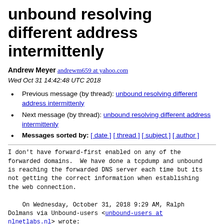unbound resolving different address intermittenly
Andrew Meyer andrewm659 at yahoo.com
Wed Oct 31 14:42:48 UTC 2018
Previous message (by thread): unbound resolving different address intermittenly
Next message (by thread): unbound resolving different address intermittenly
Messages sorted by: [ date ] [ thread ] [ subject ] [ author ]
I don't have forward-first enabled on any of the
forwarded domains.  We have done a tcpdump and unbound
is reaching the forwarded DNS server each time but its
not getting the correct information when establishing
the web connection.

    On Wednesday, October 31, 2018 9:29 AM, Ralph
Dolmans via Unbound-users <unbound-users at
nlnetlabs.nl> wrote:


 Hi Andrew,